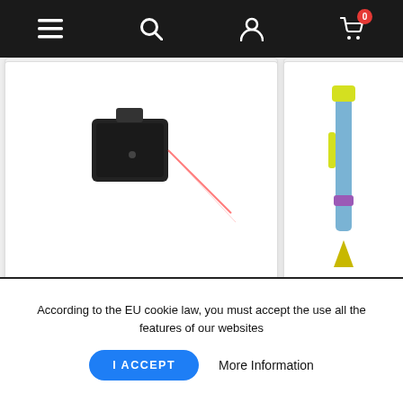Navigation bar with menu, search, account, and cart icons (cart badge: 0)
[Figure (photo): Product photo of Leica Lino P5 Laser Level 864427, a black device with red laser beam on white background]
BRAND: LEICA GEOSYSTEMS
LEICA LINO P5 LASER LEVEL 864427
☆☆☆☆☆ Review(s): 0
€291.58
Add to cart
[Figure (photo): Partial product photo of a tripod (yellow-blue painting brush-like tripod), partially visible on right side]
BRAND: LE
TRIPOD 94-14
☆☆☆☆
€175
According to the EU cookie law, you must accept the use all the features of our websites
I ACCEPT
More Information